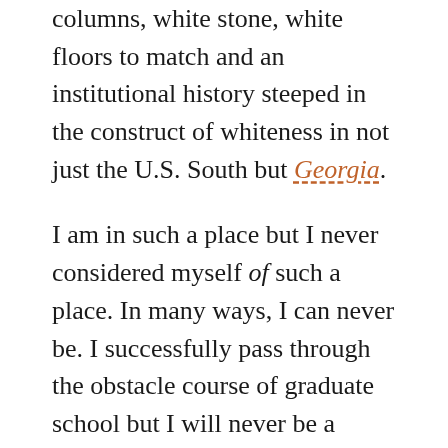columns, white stone, white floors to match and an institutional history steeped in the construct of whiteness in not just the U.S. South but Georgia.
I am in such a place but I never considered myself of such a place. In many ways, I can never be. I successfully pass through the obstacle course of graduate school but I will never be a product of its social reproduction of a certain class of scholars. I get that and am amazingly fine with it.
But my first research respondent? To her I was Emory in ways that were incongruent with my inchoate